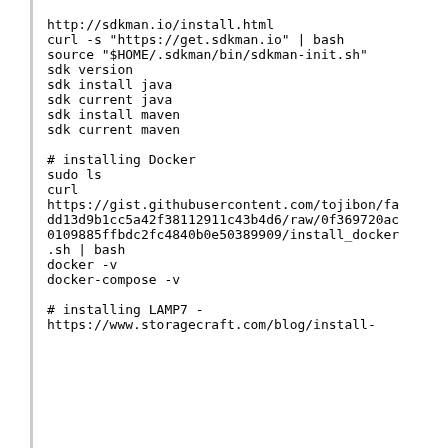http://sdkman.io/install.html
curl -s "https://get.sdkman.io" | bash
source "$HOME/.sdkman/bin/sdkman-init.sh"
sdk version
sdk install java
sdk current java
sdk install maven
sdk current maven

# installing Docker
sudo ls
curl
https://gist.githubusercontent.com/tojibon/fadd13d9b1cc5a42f38112911c43b4d6/raw/0f369720ac0109885ffbdc2fc4840b0e50389909/install_docker.sh | bash
docker -v
docker-compose -v

# installing LAMP7 -
https://www.storagecraft.com/blog/install-